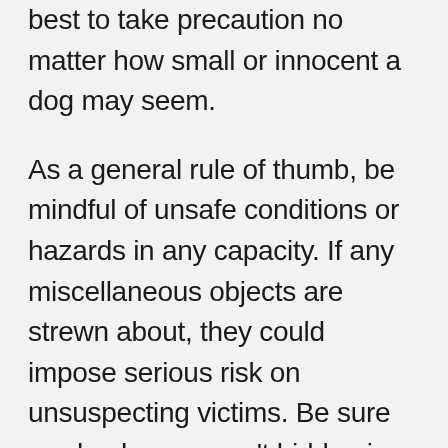best to take precaution no matter how small or innocent a dog may seem.
As a general rule of thumb, be mindful of unsafe conditions or hazards in any capacity. If any miscellaneous objects are strewn about, they could impose serious risk on unsuspecting victims. Be sure garden hoses aren't hidden in the grass, or that dangerous lawn or landscaping equipment isn't left out to harm someone. Don't take any unnecessary risks, and if something seems like it has even a minor